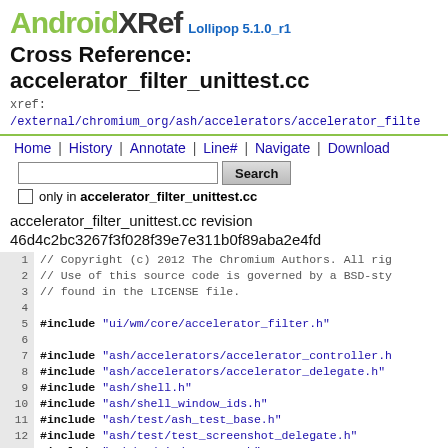AndroidXRef Lollipop 5.1.0_r1
Cross Reference: accelerator_filter_unittest.cc
xref: /external/chromium_org/ash/accelerators/accelerator_filt…
Home | History | Annotate | Line# | Navigate | Download
only in accelerator_filter_unittest.cc
accelerator_filter_unittest.cc revision 46d4c2bc3267f3f028f39e7e311b0f89aba2e4fd
1  // Copyright (c) 2012 The Chromium Authors. All rig
2  // Use of this source code is governed by a BSD-sty
3  // found in the LICENSE file.
4
5  #include "ui/wm/core/accelerator_filter.h"
6
7  #include "ash/accelerators/accelerator_controller.h
8  #include "ash/accelerators/accelerator_delegate.h"
9  #include "ash/shell.h"
10 #include "ash/shell_window_ids.h"
11 #include "ash/test/ash_test_base.h"
12 #include "ash/test/test_screenshot_delegate.h"
13 #include "ash/wm/window_state.h"